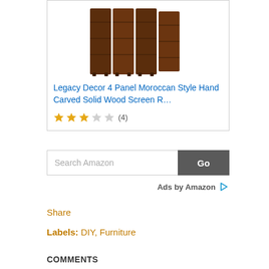[Figure (photo): Partial Amazon product listing showing a dark brown wooden folding room divider screen (Legacy Decor 4 Panel Moroccan Style Hand Carved Solid Wood Screen R...) with 3 out of 5 stars rating and 4 reviews]
Legacy Decor 4 Panel Moroccan Style Hand Carved Solid Wood Screen R…
★★★☆☆ (4)
Search Amazon  Go
Ads by Amazon
Share
Labels: DIY, Furniture
COMMENTS
Anonymous   July 24, 2019 at 12:20 AM
I absolutely love your website.. Excellent colors & theme.